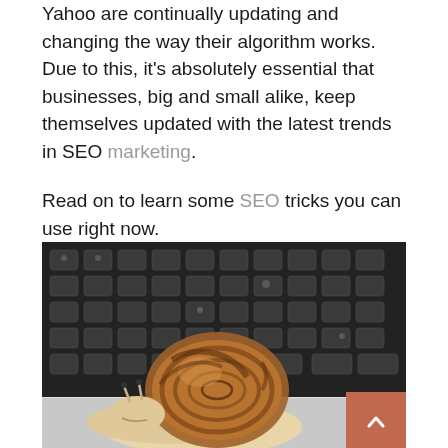Yahoo are continually updating and changing the way their algorithm works. Due to this, it's absolutely essential that businesses, big and small alike, keep themselves updated with the latest trends in SEO marketing.
Read on to learn some SEO tricks you can use right now.
[Figure (photo): A snail sitting on a laptop keyboard, photographed close-up. The snail has a brown spiral shell and is resting on the white/silver edge of a laptop with dark keys visible in the background.]